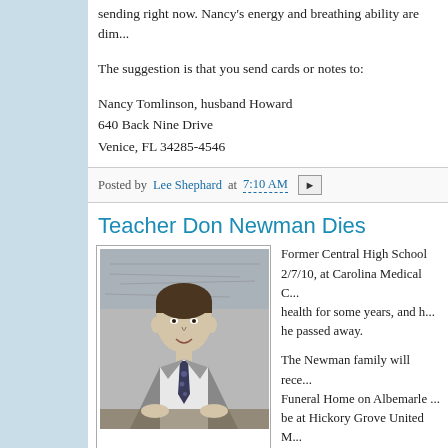sending right now. Nancy's energy and breathing ability are dim...
The suggestion is that you send cards or notes to:
Nancy Tomlinson, husband Howard
640 Back Nine Drive
Venice, FL 34285-4546
Posted by Lee Shephard at 7:10 AM
Teacher Don Newman Dies
[Figure (photo): Black and white photograph of a man in a suit and tie, seated at a desk, smiling at the camera. A map is visible in the background.]
Former Central High School ... 2/7/10, at Carolina Medical C... health for some years, and h... he passed away.

The Newman family will rece... Funeral Home on Albemarle ... be at Hickory Grove United M...